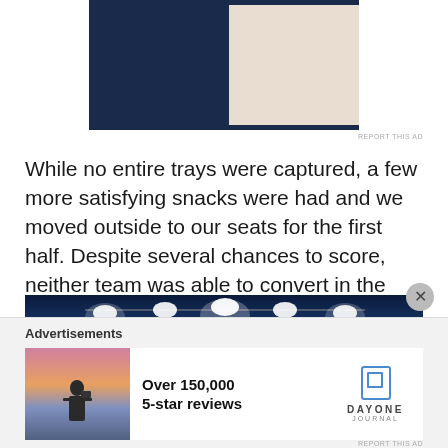[Figure (screenshot): Top advertisement banner showing a dark navy background with overlay of a fashion/lifestyle website screenshot on the right side]
While no entire trays were captured, a few more satisfying snacks were had and we moved outside to our seats for the first half. Despite several chances to score, neither team was able to convert in the first half and time expired with the score tied at zero.
[Figure (photo): Stadium interior photograph showing a packed crowd of fans with red banners/flags, bright flood lights illuminating the roof structure, green pitch visible at bottom]
Advertisements
[Figure (screenshot): Advertisement for Day One Journal app showing a person photographing a sunset, with text 'Over 150,000 5-star reviews' and the Day One Journal logo]